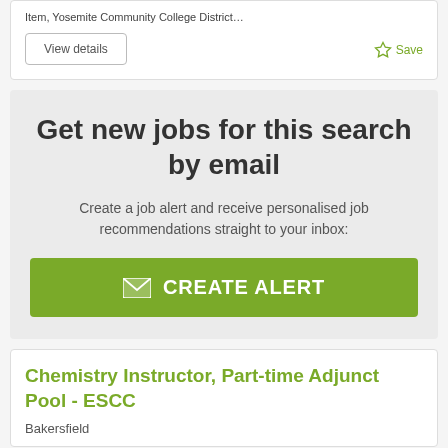Item, Yosemite Community College District…
View details
Save
Get new jobs for this search by email
Create a job alert and receive personalised job recommendations straight to your inbox:
CREATE ALERT
Chemistry Instructor, Part-time Adjunct Pool - ESCC
Bakersfield